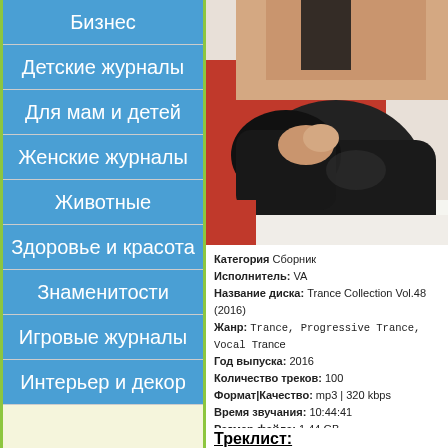Бизнес
Детские журналы
Для мам и детей
Женские журналы
Животные
Здоровье и красота
Знаменитости
Игровые журналы
Интерьер и декор
[Figure (photo): Photo of a person in black boots and jacket lying on a white rug with a red background]
Категория Сборник
Исполнитель: VA
Название диска: Trance Collection Vol.48 (2016)
Жанр: Trance, Progressive Trance, Vocal Trance
Год выпуска: 2016
Количество треков: 100
Формат|Качество: mp3 | 320 kbps
Время звучания: 10:44:41
Размер файла: 1.44 GB
Треклист: